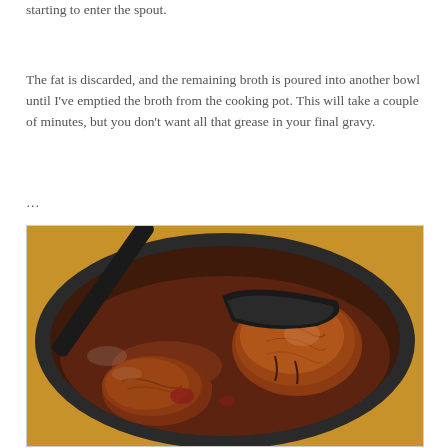starting to enter the spout.
The fat is discarded, and the remaining broth is poured into another bowl until I've emptied the broth from the cooking pot. This will take a couple of minutes, but you don't want all that grease in your final gravy.
…
[Figure (photo): A dark cast iron pot containing braised meat pieces in a rich, dark brown gravy/sauce, with a black spatula or spoon lifting a piece of meat. The pot is sitting on a wooden surface.]